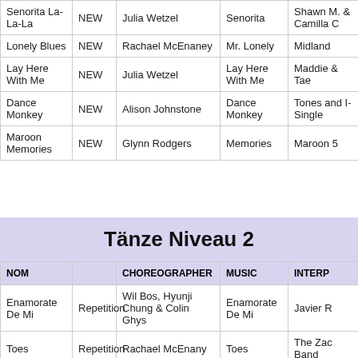| NOM |  | CHOREOGRAPHER | MUSIC | INTERPRETER |
| --- | --- | --- | --- | --- |
| Senorita La-La-La | NEW | Julia Wetzel | Senorita | Shawn M. & Camilla C |
| Lonely Blues | NEW | Rachael McEnaney | Mr. Lonely | Midland |
| Lay Here With Me | NEW | Julia Wetzel | Lay Here With Me | Maddie & Tae |
| Dance Monkey | NEW | Alison Johnstone | Dance Monkey | Tones and I- Single |
| Maroon Memories | NEW | Glynn Rodgers | Memories | Maroon 5 |
Tänze Niveau 2
| NOM |  | CHOREOGRAPHER | MUSIC | INTERPR... |
| --- | --- | --- | --- | --- |
| Enamorate De Mi | Repetition | Wil Bos, Hyunji Chung & Colin Ghys | Enamorate De Mi | Javier R... |
| Toes | Repetition | Rachael McEnany | Toes | The Zac... Band |
| Reason To Stay | NEW | Darren Bailey | Reason To Stay | Brett You... |